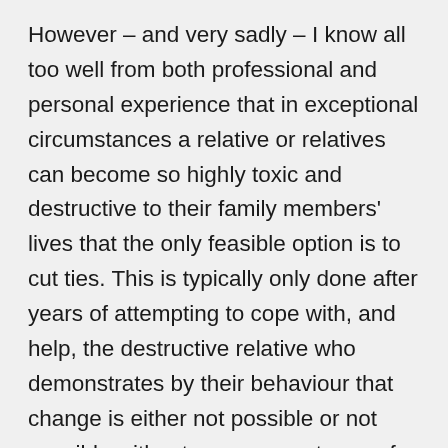However – and very sadly – I know all too well from both professional and personal experience that in exceptional circumstances a relative or relatives can become so highly toxic and destructive to their family members' lives that the only feasible option is to cut ties. This is typically only done after years of attempting to cope with, and help, the destructive relative who demonstrates by their behaviour that change is either not possible or not possible without some acceptance of personal responsibility. Usually, if violence is a factor (which it often is), alcohol and/ or drug addiction is involved. Cutting ties after many years in order to make one's own life